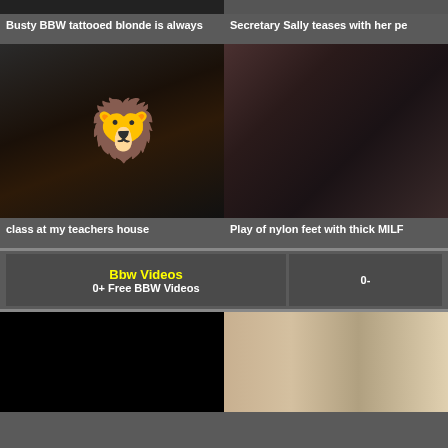[Figure (screenshot): Dark video thumbnail top left]
Busty BBW tattooed blonde is always
[Figure (screenshot): Video thumbnail top right]
Secretary Sally teases with her pe
[Figure (screenshot): Dark bedroom scene with lion emoji overlay, left]
class at my teachers house
[Figure (screenshot): Nylon legs MILF video thumbnail right]
Play of nylon feet with thick MILF
Bbw Videos
0+ Free BBW Videos
0-
[Figure (screenshot): Black screen video thumbnail bottom left]
[Figure (screenshot): Room scene with people bottom right]